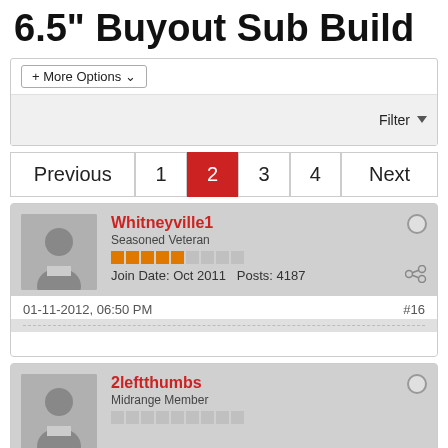6.5" Buyout Sub Build
+ More Options
Filter
Previous  1  2  3  4  Next
Whitneyville1
Seasoned Veteran
Join Date: Oct 2011  Posts: 4187
01-11-2012, 06:50 PM  #16
2leftthumbs
Midrange Member